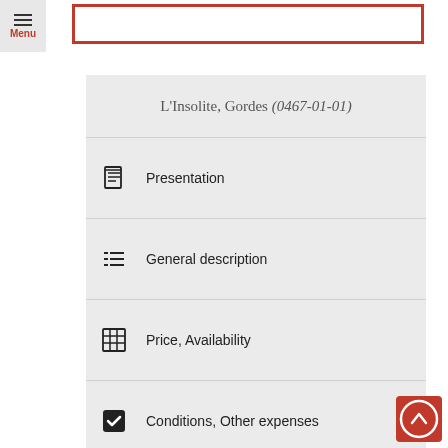Menu
L'Insolite, Gordes (0467-01-01)
Presentation
General description
Price, Availability
Conditions, Other expenses
Location on map
Booking, Offer request